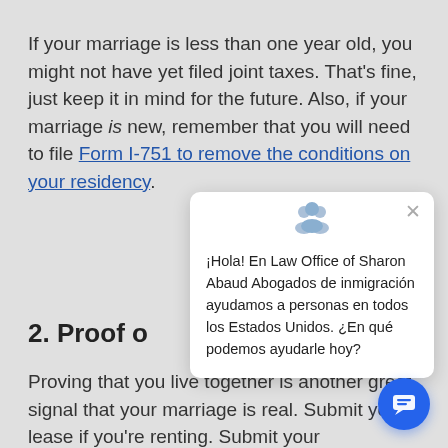If your marriage is less than one year old, you might not have yet filed joint taxes. That's fine, just keep it in mind for the future. Also, if your marriage is new, remember that you will need to file Form I-751 to remove the conditions on your residency.
2. Proof of...
Proving that you live together is another great signal that your marriage is real. Submit your lease if you're renting. Submit your
[Figure (screenshot): Chat popup overlay with group icon at top, close X button, and Spanish language message: ¡Hola! En Law Office of Sharon Abaud Abogados de inmigración ayudamos a personas en todos los Estados Unidos. ¿En qué podemos ayudarle hoy?]